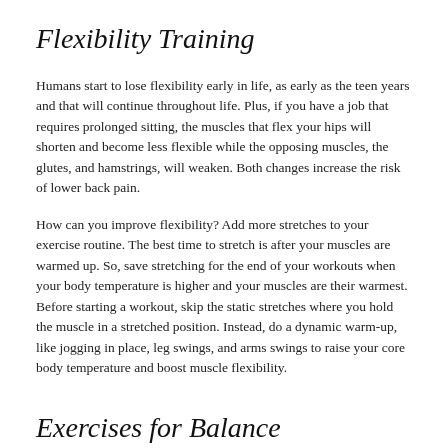Flexibility Training
Humans start to lose flexibility early in life, as early as the teen years and that will continue throughout life. Plus, if you have a job that requires prolonged sitting, the muscles that flex your hips will shorten and become less flexible while the opposing muscles, the glutes, and hamstrings, will weaken. Both changes increase the risk of lower back pain.
How can you improve flexibility? Add more stretches to your exercise routine. The best time to stretch is after your muscles are warmed up. So, save stretching for the end of your workouts when your body temperature is higher and your muscles are their warmest. Before starting a workout, skip the static stretches where you hold the muscle in a stretched position. Instead, do a dynamic warm-up, like jogging in place, leg swings, and arms swings to raise your core body temperature and boost muscle flexibility.
Exercises for Balance
Just as people lose strength and flexibility with age, balance skills suffer as well. This is an area of fitness training that many people ignore. How can you